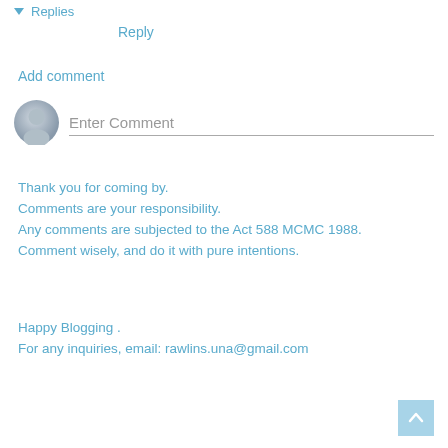▼ Replies
Reply
Add comment
[Figure (illustration): Generic user avatar circle with person silhouette, gray gradient]
Enter Comment
Thank you for coming by.
Comments are your responsibility.
Any comments are subjected to the Act 588 MCMC 1988.
Comment wisely, and do it with pure intentions.
Happy Blogging .
For any inquiries, email: rawlins.una@gmail.com
[Figure (other): Back to top button, light blue square with upward chevron arrow]